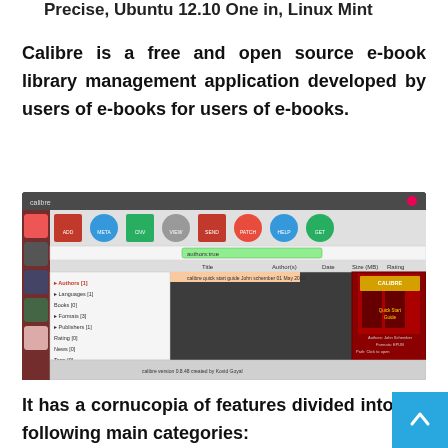Precise, Ubuntu 12.10 One in, Linux Mint
Calibre is a free and open source e-book library management application developed by users of e-books for users of e-books.
[Figure (screenshot): Screenshot of the Calibre e-book library management application running on Ubuntu, showing the library interface with book list, sidebar, and a Calibre Quick Start Guide book cover.]
It has a cornucopia of features divided into the following main categories: